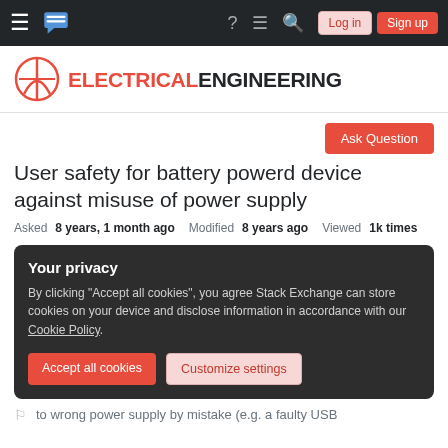Electrical Engineering Stack Exchange — navigation bar with Log in and Sign up buttons
[Figure (logo): Electrical Engineering Stack Exchange logo with red circuit symbol and site name]
Ask Question
User safety for battery powerd device against misuse of power supply
Asked 8 years, 1 month ago   Modified 8 years ago   Viewed 1k times
Your privacy
By clicking "Accept all cookies", you agree Stack Exchange can store cookies on your device and disclose information in accordance with our Cookie Policy.
Accept all cookies   Customize settings
to wrong power supply by mistake (e.g. a faulty USB